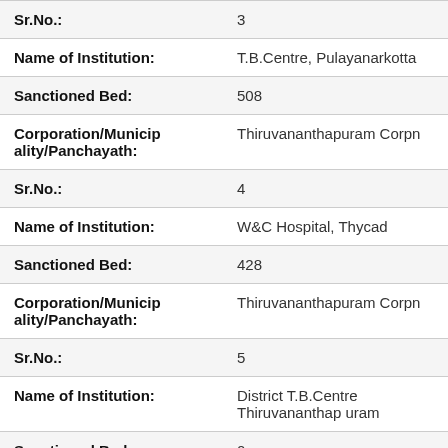| Field | Value |
| --- | --- |
| Sr.No.: | 3 |
| Name of Institution: | T.B.Centre, Pulayanarkotta |
| Sanctioned Bed: | 508 |
| Corporation/Municipality/Panchayath: | Thiruvananthapuram Corpn |
| Sr.No.: | 4 |
| Name of Institution: | W&C Hospital, Thycad |
| Sanctioned Bed: | 428 |
| Corporation/Municipality/Panchayath: | Thiruvananthapuram Corpn |
| Sr.No.: | 5 |
| Name of Institution: | District T.B.Centre Thiruvananthapuram |
| Sanctioned Bed: | 0 |
| Corporation/Municipality/Panchayath: | Thiruvananthapuram Corpn |